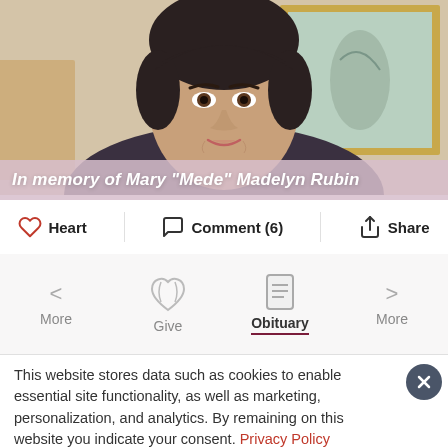[Figure (photo): Portrait photo of Mary 'Mede' Madelyn Rubin, a woman with dark short hair wearing a dark patterned top and pearl necklace, seated in front of a painting in a gold frame.]
In memory of Mary "Mede" Madelyn Rubin
Heart   Comment (6)   Share
More   Give   Obituary   More
This website stores data such as cookies to enable essential site functionality, as well as marketing, personalization, and analytics. By remaining on this website you indicate your consent. Privacy Policy